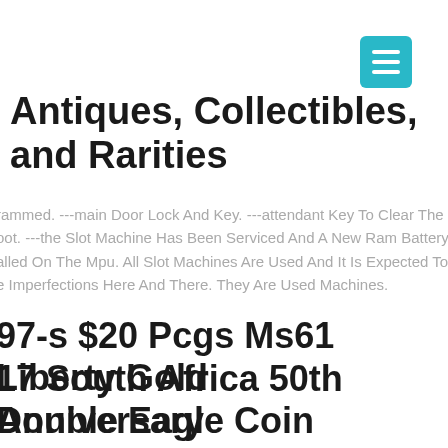[Figure (other): Teal/cyan hamburger menu button in top-right corner]
Antiques, Collectibles, and Rarities
rammed. ---main Door Lock And Key. ---attendant Key To Clear The oot. ---the Slot Machine Has Been Serviced And A New Ram Battery alled On The Mpu. All Slot Machines Are Used And It Is Expected To e Imperfections Here And There. They Are Used Machines.
97-s $20 Pcgs Ms61 Liberty Gold Double Eagle Coin
17 South Africa 50th Anniversary rugerrand Silver Proof 1oz Coin cgs Pr70 Dc